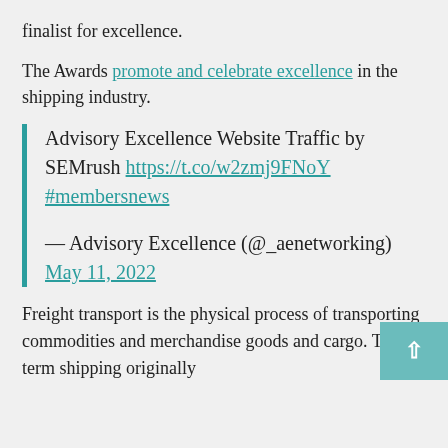finalist for excellence.
The Awards promote and celebrate excellence in the shipping industry.
Advisory Excellence Website Traffic by SEMrush https://t.co/w2zmj9FNoY #membersnews
— Advisory Excellence (@_aenetworking) May 11, 2022
Freight transport is the physical process of transporting commodities and merchandise goods and cargo. The term shipping originally